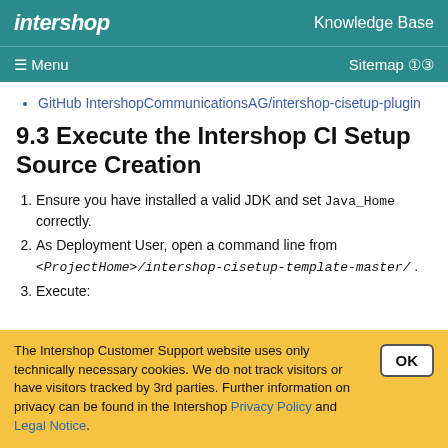intershop   Knowledge Base
≡ Menu   Sitemap
GitHub IntershopCommunicationsAG/intershop-cisetup-plugin
9.3 Execute the Intershop CI Setup Source Creation
1. Ensure you have installed a valid JDK and set Java_Home correctly.
2. As Deployment User, open a command line from <ProjectHome>/intershop-cisetup-template-master/ .
3. Execute:
The Intershop Customer Support website uses only technically necessary cookies. We do not track visitors or have visitors tracked by 3rd parties. Further information on privacy can be found in the Intershop Privacy Policy and Legal Notice.